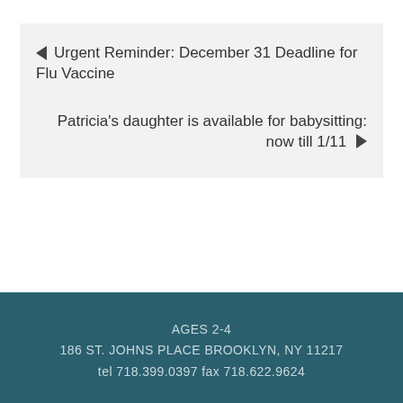◄ Urgent Reminder: December 31 Deadline for Flu Vaccine
Patricia's daughter is available for babysitting: now till 1/11 ►
AGES 2-4
186 ST. JOHNS PLACE BROOKLYN, NY 11217
tel 718.399.0397 fax 718.622.9624